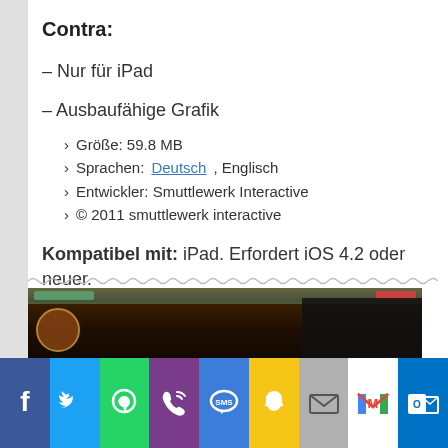Contra:
– Nur für iPad
– Ausbaufähige Grafik
› Größe: 59.8 MB
› Sprachen: Deutsch, Englisch
› Entwickler: Smuttlewerk Interactive
› © 2011 smuttlewerk interactive
Kompatibel mit: iPad. Erfordert iOS 4.2 oder neuer.
Companions für 79 Cent im App Store.
[Figure (screenshot): Screenshot of a game app (Companions) showing a dark fantasy game interface with decorative border elements]
[Figure (infographic): Social sharing bar with icons for Facebook, Twitter, WhatsApp, Phone, SMS, Snapchat, Mail, Gmail, Outlook]